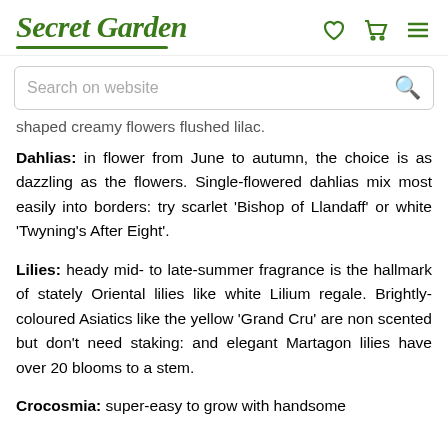Secret Garden
shaped creamy flowers flushed lilac.
Dahlias: in flower from June to autumn, the choice is as dazzling as the flowers. Single-flowered dahlias mix most easily into borders: try scarlet 'Bishop of Llandaff' or white 'Twyning's After Eight'.
Lilies: heady mid- to late-summer fragrance is the hallmark of stately Oriental lilies like white Lilium regale. Brightly-coloured Asiatics like the yellow 'Grand Cru' are non scented but don't need staking: and elegant Martagon lilies have over 20 blooms to a stem.
Crocosmia: super-easy to grow with handsome straps of fine flowers, 'the others are in sight'